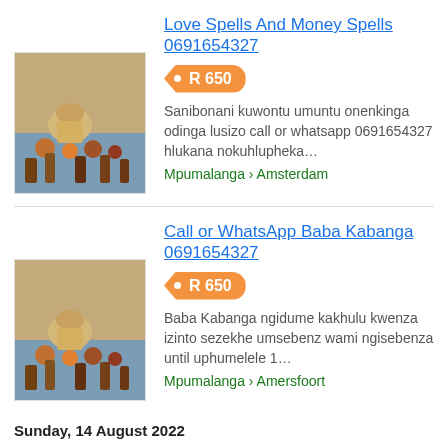Love Spells And Money Spells 0691654327
R 650
Sanibonani kuwontu umuntu onenkinga odinga lusizo call or whatsapp 0691654327 hlukana nokuhlupheka…
Mpumalanga › Amsterdam
Call or WhatsApp Baba Kabanga 0691654327
R 650
Baba Kabanga ngidume kakhulu kwenza izinto sezekhe umsebenz wami ngisebenza until uphumelele 1…
Mpumalanga › Amersfoort
Sunday, 14 August 2022